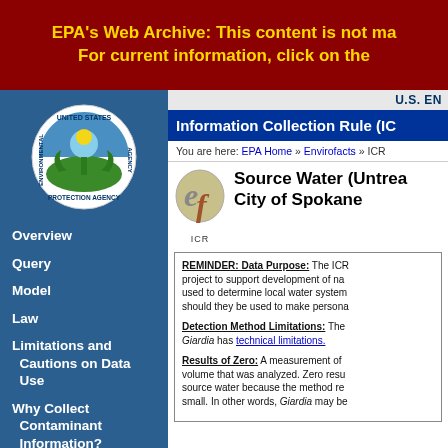EPA's Web Archive: This content is not ma... For current information, click on the...
[Figure (logo): EPA United States Environmental Protection Agency circular seal logo]
Overview
Query
Model
Law
Limitations and Cautions on Data Use
Why Collect Contaminant Information?
Current EPA Microbial and Disinfection Byproduct Regulations
U.S. EN
Information Collection Rule (IC
You are here: EPA Home » Envirofacts » ICR
Source Water (Untrea... City of Spokane
REMINDER: Data Purpose: The ICR... project to support development of na... used to determine local water system... should they be used to make persona...
Detection Method Limitations: The... Giardia has technical limitations.
Results of Zero: A measurement of... volume that was analyzed. Zero resu... source water because the method re... small. In other words, Giardia may be...